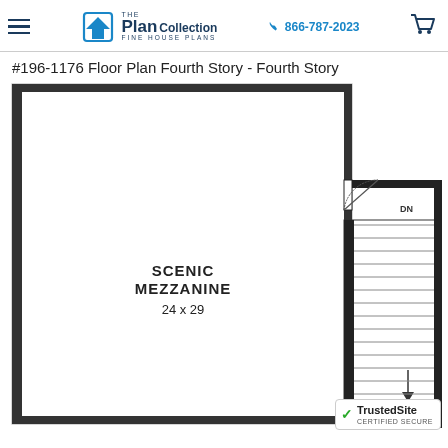The Plan Collection - Fine House Plans | 866-787-2023
#196-1176 Floor Plan Fourth Story - Fourth Story
[Figure (engineering-diagram): Fourth story floor plan showing a large open Scenic Mezzanine room (24 x 29) with a staircase in the upper right corner. The staircase has multiple treads and arrows indicating direction of travel. A door is shown at the top of the stair section.]
TrustedSite CERTIFIED SECURE